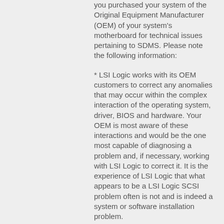you purchased your system of the Original Equipment Manufacturer (OEM) of your system's motherboard for technical issues pertaining to SDMS. Please note the following information:
* LSI Logic works with its OEM customers to correct any anomalies that may occur within the complex interaction of the operating system, driver, BIOS and hardware. Your OEM is most aware of these interactions and would be the one most capable of diagnosing a problem and, if necessary, working with LSI Logic to correct it. It is the experience of LSI Logic that what appears to be a LSI Logic SCSI problem often is not and is indeed a system or software installation problem.
* By contacting the OEM for support, you will be assured of receiving the latest SDMS BIOS and drivers that have been